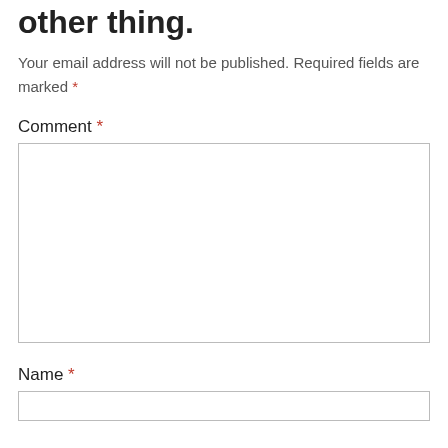other thing.
Your email address will not be published. Required fields are marked *
Comment *
[Figure (other): Comment textarea input box]
Name *
[Figure (other): Name text input box]